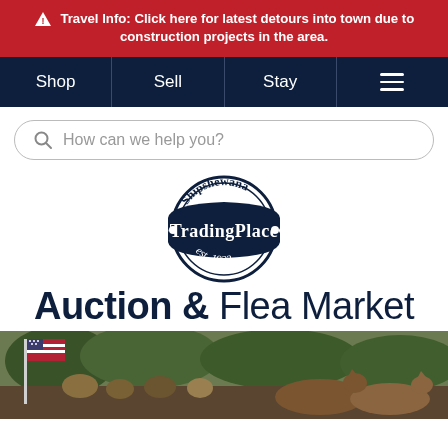⚠ Travel Info: Click here for latest detours into town due to construction projects in the area.
Shop | Sell | Stay | ☰
How can we help you?
[Figure (logo): Shipshewana TradingPlace est. 1922 circular logo with dark navy badge shape]
Auction & Flea Market
[Figure (photo): Outdoor crowd scene with horses and an American flag, likely at a fair or auction event]